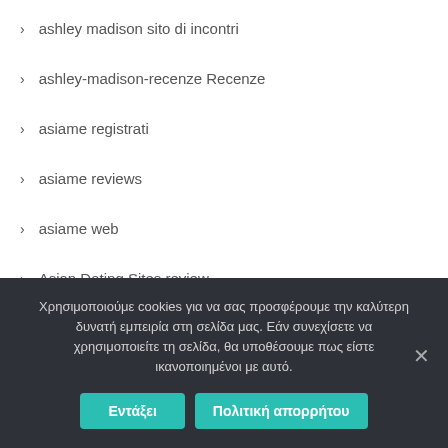ashley madison sito di incontri
ashley-madison-recenze Recenze
asiame registrati
asiame reviews
asiame web
Asian Dating Sites review
Asian Dating Sites visitors
asian hookup apps review
Asian Hookup Apps reviews
Χρησιμοποιούμε cookies για να σας προσφέρουμε την καλύτερη δυνατή εμπειρία στη σελίδα μας. Εάν συνεχίσετε να χρησιμοποιείτε τη σελίδα, θα υποθέσουμε πως είστε ικανοποιημένοι με αυτό.
Εντάξει
Πολιτική απορρήτου